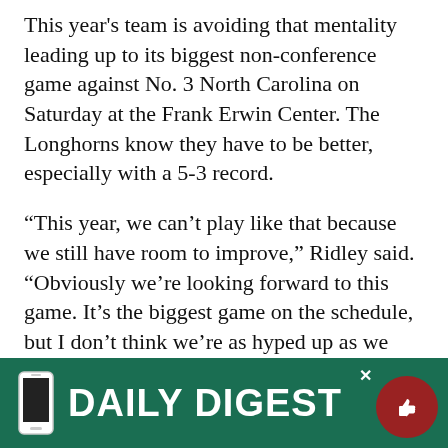This year's team is avoiding that mentality leading up to its biggest non-conference game against No. 3 North Carolina on Saturday at the Frank Erwin Center. The Longhorns know they have to be better, especially with a 5-3 record.
“This year, we can’t play like that because we still have room to improve,” Ridley said. “Obviously we’re looking forward to this game. It’s the biggest game on the schedule, but I don’t think we’re as hyped up as we were last year.”
Texas comes into this game with some momentum. The Longhorns have won three straight home games and posted a season-high 116 points in Tuesday’s win over UTSA.
While there’s not much the team can take from a win over... have some...
[Figure (other): Daily Digest promotional banner overlay in dark green with phone icon and thumbs up button]